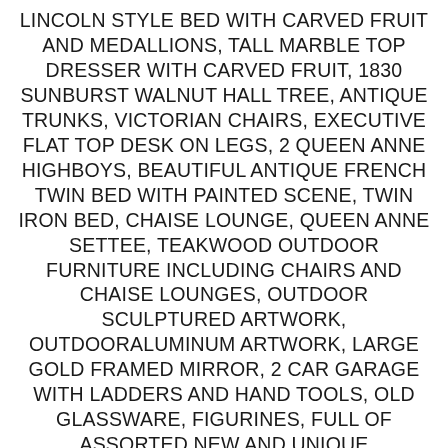LINCOLN STYLE BED WITH CARVED FRUIT AND MEDALLIONS, TALL MARBLE TOP DRESSER WITH CARVED FRUIT, 1830 SUNBURST WALNUT HALL TREE, ANTIQUE TRUNKS, VICTORIAN CHAIRS, EXECUTIVE FLAT TOP DESK ON LEGS, 2 QUEEN ANNE HIGHBOYS, BEAUTIFUL ANTIQUE FRENCH TWIN BED WITH PAINTED SCENE, TWIN IRON BED, CHAISE LOUNGE, QUEEN ANNE SETTEE, TEAKWOOD OUTDOOR FURNITURE INCLUDING CHAIRS AND CHAISE LOUNGES, OUTDOOR SCULPTURED ARTWORK, OUTDOORALUMINUM ARTWORK, LARGE GOLD FRAMED MIRROR, 2 CAR GARAGE WITH LADDERS AND HAND TOOLS, OLD GLASSWARE, FIGURINES, FULL OF ASSORTED NEW AND UNIQUE MERCHANDISE, LARGE COLLECTION WEDGEWOOD, LENOX CHINA